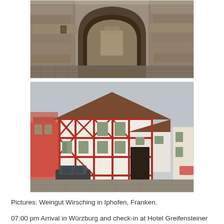[Figure (photo): Stone archway/gate passage in Iphofen, Franken — medieval stone wall with Gothic arch, cobblestone road visible through the arch]
[Figure (photo): Half-timbered German house (Weingut Wirsching) in Iphofen, Franken — white walls with red timber framing, arched gate, parked car in foreground, cobblestone square]
Pictures: Weingut Wirsching in Iphofen, Franken.
07:00 pm Arrival in Würzburg and check-in at Hotel Greifensteiner Hof.
Evening programme: Relaxation and charming...